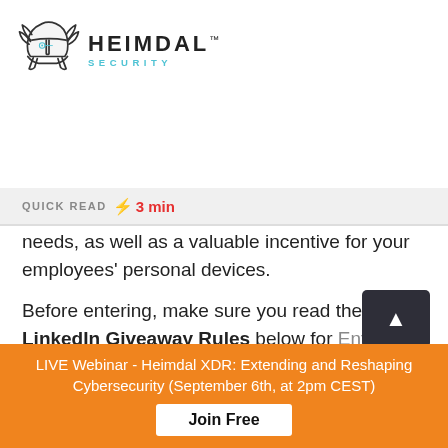[Figure (logo): Heimdal Security logo with Viking helmet icon and company name]
QUICK READ ⚡ 3 min
needs, as well as a valuable incentive for your employees' personal devices.
Before entering, make sure you read the LinkedIn Giveaway Rules below for Entry Conditions, Eligibility, Terms and Conditions, Privacy Policy, and more relevant information.
LIVE Webinar - Heimdal XDR: Extending and Reshaping Cybersecurity (September 6th, at 2pm CEST)
Join Free